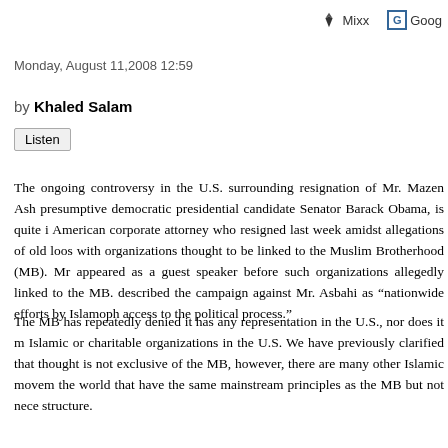[Figure (logo): Mixx social sharing button with icon]
[Figure (logo): Google sharing button with G icon]
Monday, August 11,2008 12:59
by Khaled Salam
Listen
The ongoing controversy in the U.S. surrounding resignation of Mr. Mazen Asbahi, presumptive democratic presidential candidate Senator Barack Obama, is quite interesting. Asbahi, an American corporate attorney who resigned last week amidst allegations of old loose connections with organizations thought to be linked to the Muslim Brotherhood (MB). Mr. Asbahi apparently appeared as a guest speaker before such organizations allegedly linked to the MB. The Obama campaign described the campaign against Mr. Asbahi as “nationwide efforts by Islamophobes to deny Muslims access to the political process.”
The MB has repeatedly denied it has any representation in the U.S., nor does it maintain any Islamic or charitable organizations in the U.S. We have previously clarified that Islamic political thought is not exclusive of the MB, however, there are many other Islamic movements throughout the world that have the same mainstream principles as the MB but not necessarily the same structure.